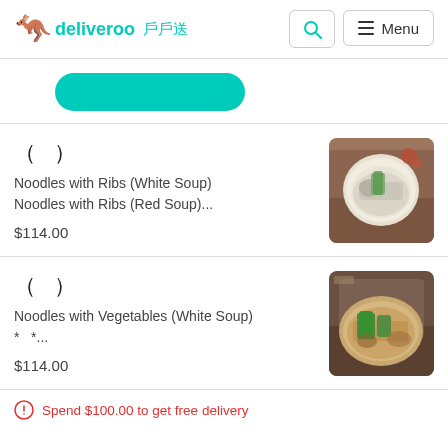deliveroo 戶戶送 [search] [Menu]
[Figure (other): Teal pill-shaped button]
（ ）
Noodles with Ribs (White Soup)
Noodles with Ribs (Red Soup)...
$114.00
[Figure (photo): Bowl of white soup noodles with ribs and greens from restaurant]
（ ）
Noodles with Vegetables (White Soup)
* * ...
$114.00
[Figure (photo): Bowl of noodles with vegetables and toppings from restaurant]
Spend $100.00 to get free delivery